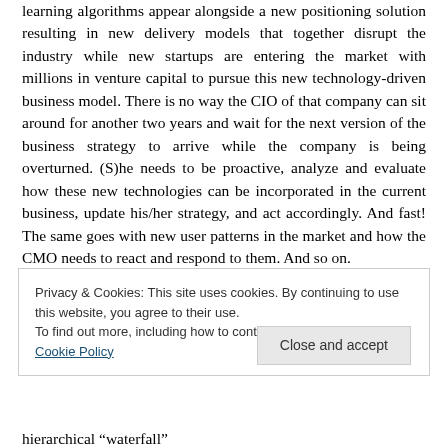learning algorithms appear alongside a new positioning solution resulting in new delivery models that together disrupt the industry while new startups are entering the market with millions in venture capital to pursue this new technology-driven business model. There is no way the CIO of that company can sit around for another two years and wait for the next version of the business strategy to arrive while the company is being overturned. (S)he needs to be proactive, analyze and evaluate how these new technologies can be incorporated in the current business, update his/her strategy, and act accordingly. And fast! The same goes with new user patterns in the market and how the CMO needs to react and respond to them. And so on.
Privacy & Cookies: This site uses cookies. By continuing to use this website, you agree to their use.
To find out more, including how to control cookies, see here: Cookie Policy
Close and accept
hierarchical “waterfall”